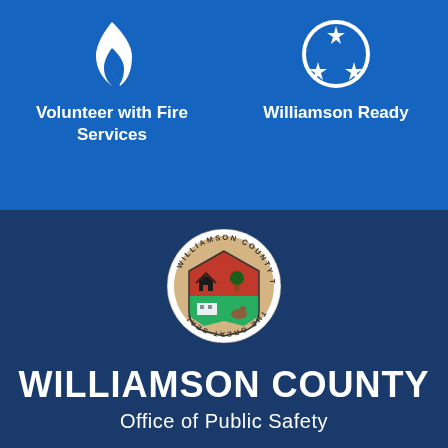[Figure (illustration): Flame icon (white) on blue background representing Fire Services]
Volunteer with Fire Services
[Figure (illustration): Tennessee tri-star circle icon (white) on blue background representing Williamson Ready]
Williamson Ready
[Figure (logo): Williamson County Tennessee The Great Seal - circular seal with red and green shield quadrants showing a house, trees, and a deer]
WILLIAMSON COUNTY
Office of Public Safety